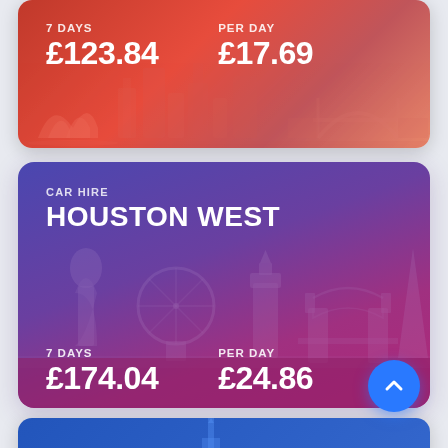[Figure (infographic): Top card with red gradient background and Sydney-style skyline silhouette. Shows 7 DAYS £123.84 and PER DAY £17.69]
7 DAYS
£123.84
PER DAY
£17.69
[Figure (infographic): Middle card with purple-to-pink gradient and London skyline silhouette (Gherkin, London Eye, Big Ben, Tower Bridge, The Shard). Shows CAR HIRE, HOUSTON WEST, 7 DAYS £174.04, PER DAY £24.86]
CAR HIRE
HOUSTON WEST
7 DAYS
£174.04
PER DAY
£24.86
[Figure (infographic): Partial bottom card with blue gradient, partially visible]